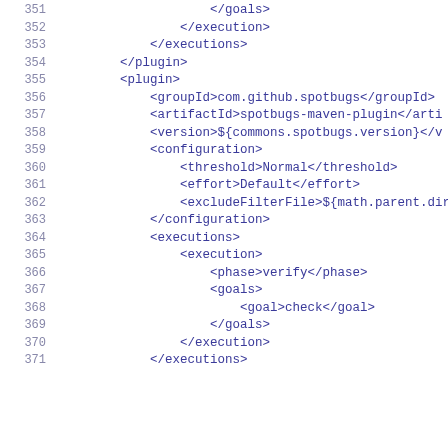351    </goals>
352    </execution>
353    </executions>
354    </plugin>
355    <plugin>
356        <groupId>com.github.spotbugs</groupId>
357        <artifactId>spotbugs-maven-plugin</arti
358        <version>${commons.spotbugs.version}</v
359        <configuration>
360            <threshold>Normal</threshold>
361            <effort>Default</effort>
362            <excludeFilterFile>${math.parent.dir}
363        </configuration>
364        <executions>
365            <execution>
366                <phase>verify</phase>
367                <goals>
368                    <goal>check</goal>
369                </goals>
370            </execution>
371        </executions>